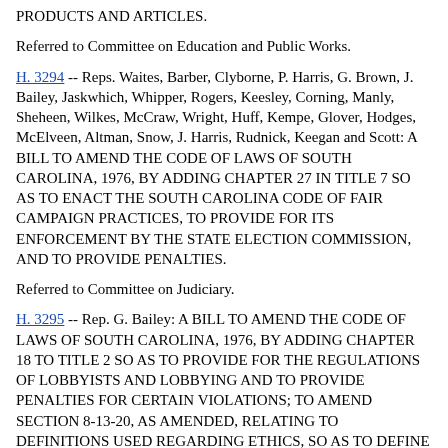PRODUCTS AND ARTICLES.
Referred to Committee on Education and Public Works.
H. 3294 -- Reps. Waites, Barber, Clyborne, P. Harris, G. Brown, J. Bailey, Jaskwhich, Whipper, Rogers, Keesley, Corning, Manly, Sheheen, Wilkes, McCraw, Wright, Huff, Kempe, Glover, Hodges, McElveen, Altman, Snow, J. Harris, Rudnick, Keegan and Scott: A BILL TO AMEND THE CODE OF LAWS OF SOUTH CAROLINA, 1976, BY ADDING CHAPTER 27 IN TITLE 7 SO AS TO ENACT THE SOUTH CAROLINA CODE OF FAIR CAMPAIGN PRACTICES, TO PROVIDE FOR ITS ENFORCEMENT BY THE STATE ELECTION COMMISSION, AND TO PROVIDE PENALTIES.
Referred to Committee on Judiciary.
H. 3295 -- Rep. G. Bailey: A BILL TO AMEND THE CODE OF LAWS OF SOUTH CAROLINA, 1976, BY ADDING CHAPTER 18 TO TITLE 2 SO AS TO PROVIDE FOR THE REGULATIONS OF LOBBYISTS AND LOBBYING AND TO PROVIDE PENALTIES FOR CERTAIN VIOLATIONS; TO AMEND SECTION 8-13-20, AS AMENDED, RELATING TO DEFINITIONS USED REGARDING ETHICS, SO AS TO DEFINE "COMPENSATION"; TO AMEND THE 1976 CODE BY ADDING SECTION 8-13-425 SO AS TO PROHIBIT A